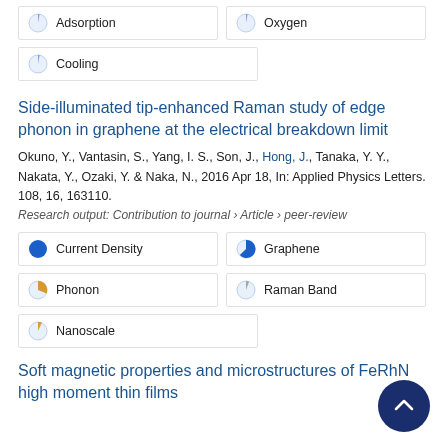6% Adsorption
6% Oxygen
6% Cooling
Side-illuminated tip-enhanced Raman study of edge phonon in graphene at the electrical breakdown limit
Okuno, Y., Vantasin, S., Yang, I. S., Son, J., Hong, J., Tanaka, Y. Y., Nakata, Y., Ozaki, Y. & Naka, N., 2016 Apr 18, In: Applied Physics Letters. 108, 16, 163110.
Research output: Contribution to journal › Article › peer-review
100% Current Density
75% Graphene
40% Phonon
15% Raman Band
20% Nanoscale
Soft magnetic properties and microstructures of FeRhN high moment thin films